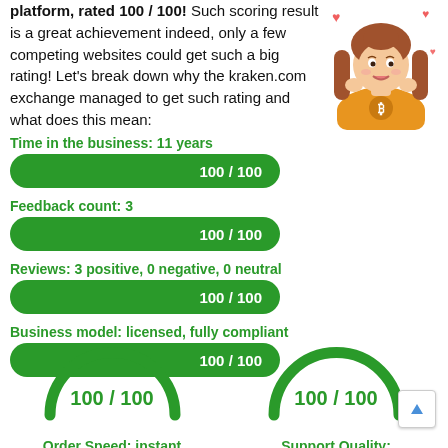platform, rated 100 / 100! Such scoring result is a great achievement indeed, only a few competing websites could get such a big rating! Let's break down why the kraken.com exchange managed to get such rating and what does this mean:
[Figure (illustration): Cartoon illustration of a girl with long brown hair wearing an orange hoodie with a Bitcoin logo, with small red heart symbols around her]
Time in the business: 11 years
[Figure (other): Green progress bar showing 100 / 100]
Feedback count: 3
[Figure (other): Green progress bar showing 100 / 100]
Reviews: 3 positive, 0 negative, 0 neutral
[Figure (other): Green progress bar showing 100 / 100]
Business model: licensed, fully compliant
[Figure (other): Green progress bar showing 100 / 100]
[Figure (other): Circular gauge dial showing 100 / 100 for Order Speed: instant]
Order Speed: instant
[Figure (other): Circular gauge dial showing 100 / 100 for Support Quality: perfect]
Support Quality: perfect